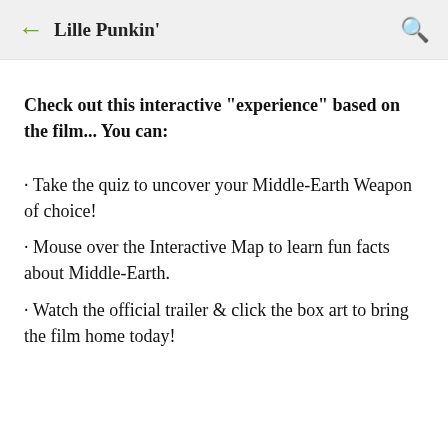← Lille Punkin'  🔍
Check out this interactive "experience" based on the film... You can:
· Take the quiz to uncover your Middle-Earth Weapon of choice!
· Mouse over the Interactive Map to learn fun facts about Middle-Earth.
· Watch the official trailer & click the box art to bring the film home today!